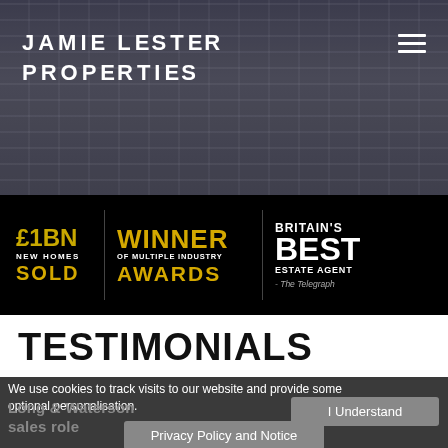[Figure (screenshot): Hero banner with darkened building/urban background photo]
JAMIE LESTER PROPERTIES
[Figure (infographic): Awards bar: £1BN New Homes Sold | Winner of Multiple Industry Awards | Britain's Best Estate Agent - The Telegraph]
TESTIMONIALS
We use cookies to track visits to our website and provide some optional personalisation.
Long & Waterson
sales role
I Understand
Privacy Policy and Notice